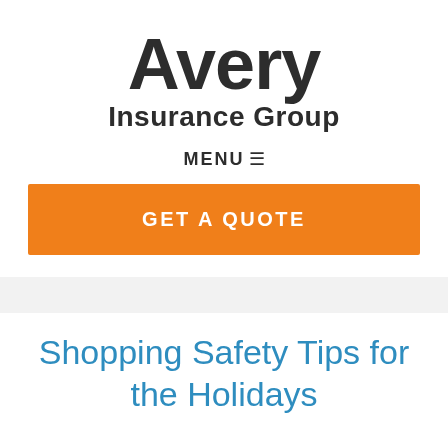[Figure (logo): Avery Insurance Group logo — large bold 'Avery' text above 'Insurance Group' in bold]
MENU ☰
GET A QUOTE
Shopping Safety Tips for the Holidays